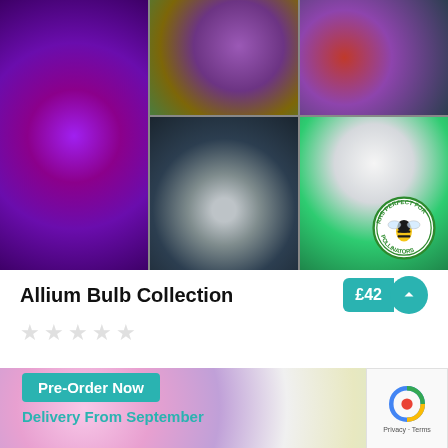[Figure (photo): Collage of six allium flower photos: purple allium globes, pendant allium flowers, white allium spheres, red flowers, mixed garden plants. RHS Perfect for Pollinators badge visible in bottom right of collage.]
Allium Bulb Collection
£42
[Figure (other): Five empty star rating icons (no rating given)]
[Figure (photo): Photo of mixed daisy-like flowers in pink, purple and white]
Pre-Order Now
Delivery From September